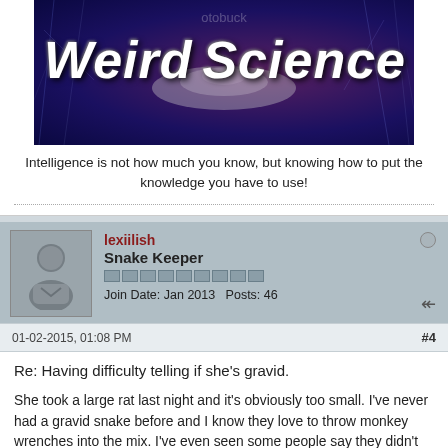[Figure (illustration): Weird Science banner image with electric lightning background, space ship, and stylized text reading 'Weird Science' with photobucket watermark]
Intelligence is not how much you know, but knowing how to put the knowledge you have to use!
lexiilish
Snake Keeper
Join Date: Jan 2013   Posts: 46
01-02-2015, 01:08 PM
#4
Re: Having difficulty telling if she's gravid.
She took a large rat last night and it's obviously too small. I've never had a gravid snake before and I know they love to throw monkey wrenches into the mix. I've even seen some people say they didn't even know the female was gravid. So in february if I have the funds I'm taking